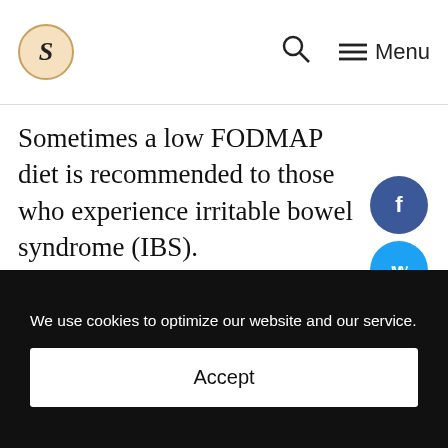S [logo] | Search | Menu
Sometimes a low FODMAP diet is recommended to those who experience irritable bowel syndrome (IBS).
Approximately 25-45 million people in the United States experience IBS, including children. The majority of people who experience IBS are unde
We use cookies to optimize our website and our service.
Accept